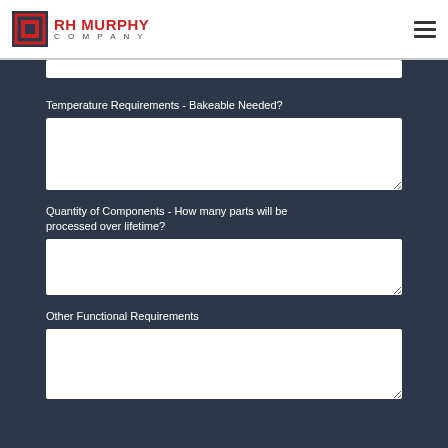RH MURPHY COMPANY
Temperature Requirements - Bakeable Needed?
Quantity of Components - How many parts will be processed over lifetime?
Other Functional Requirements